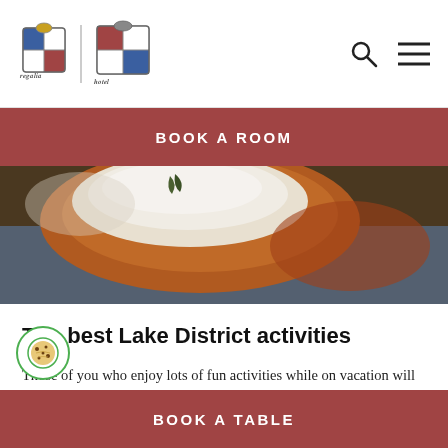[Figure (logo): Two heraldic coat of arms crests side by side with a vertical divider, hotel branding logos]
[Figure (illustration): Search icon (magnifying glass) and hamburger menu icon in header]
BOOK A ROOM
[Figure (photo): Close-up food photo showing a terracotta dish filled with creamy white dip/spread, photographed on a blue textured surface]
The best Lake District activities
Those of you who enjoy lots of fun activities while on vacation will love the Lake District. From exciting hikes and boat excursions across the lakes to
BOOK A TABLE